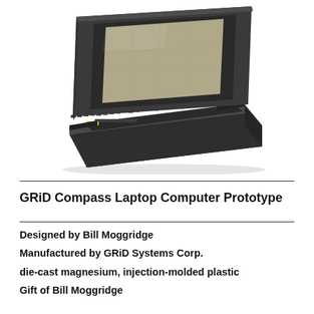[Figure (photo): A GRiD Compass laptop computer prototype photographed at an angle against a white background. The device is dark charcoal/black in color, with a tilted-back display screen showing a grey surface, and a keyboard with multiple keys visible. A yellow GRiD logo badge is visible on the base unit.]
GRiD Compass Laptop Computer Prototype
Designed by Bill Moggridge
Manufactured by GRiD Systems Corp.
die-cast magnesium, injection-molded plastic
Gift of Bill Moggridge